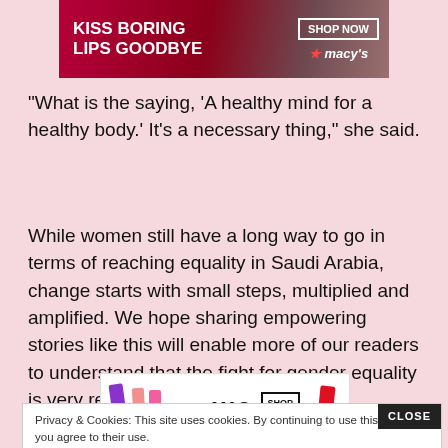[Figure (photo): Macy's advertisement banner: 'KISS BORING LIPS GOODBYE' with SHOP NOW button and Macy's star logo on dark red background with woman's face]
“What is the saying, ‘A healthy mind for a healthy body.’ It’s a necessary thing,” she said.
While women still have a long way to go in terms of reaching equality in Saudi Arabia, change starts with small steps, multiplied and amplified. We hope sharing empowering stories like this will enable more of our readers to understand that the fight for gender equality is very real and necessary.
Privacy & Cookies: This site uses cookies. By continuing to use this website, you agree to their use.
To find out more, including how to control cookies, see here: Cookie Policy
[Figure (photo): MAC Cosmetics advertisement: lipsticks in purple, pink, and red with MAC logo and SHOP NOW button]